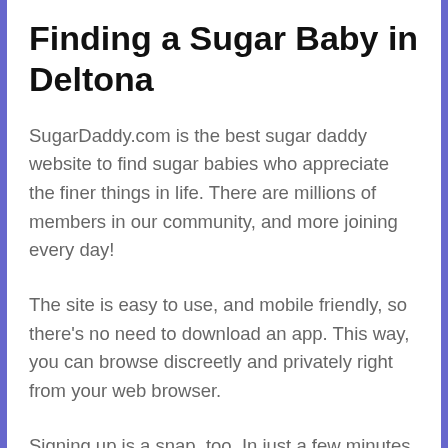Finding a Sugar Baby in Deltona
SugarDaddy.com is the best sugar daddy website to find sugar babies who appreciate the finer things in life. There are millions of members in our community, and more joining every day!
The site is easy to use, and mobile friendly, so there's no need to download an app. This way, you can browse discreetly and privately right from your web browser.
Signing up is a snap, too. In just a few minutes, you can be scrolling through sugar baby